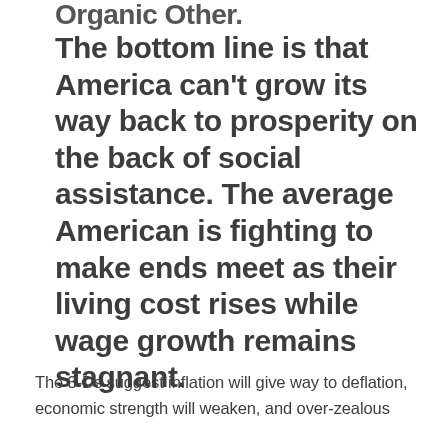Organic Other.
The bottom line is that America can't grow its way back to prosperity on the back of social assistance. The average American is fighting to make ends meet as their living cost rises while wage growth remains stagnant.
The 3-Ds suggest inflation will give way to deflation, economic strength will weaken, and over-zealous